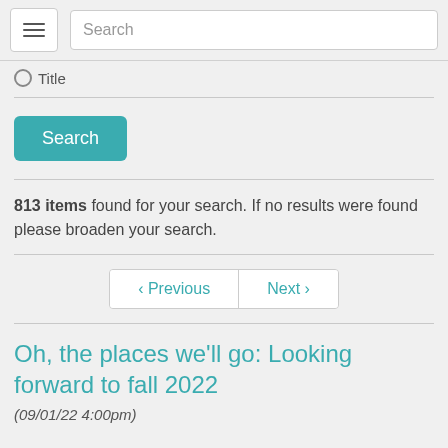Search
Title
Search
813 items found for your search. If no results were found please broaden your search.
‹ Previous  Next ›
Oh, the places we'll go: Looking forward to fall 2022
(09/01/22 4:00pm)